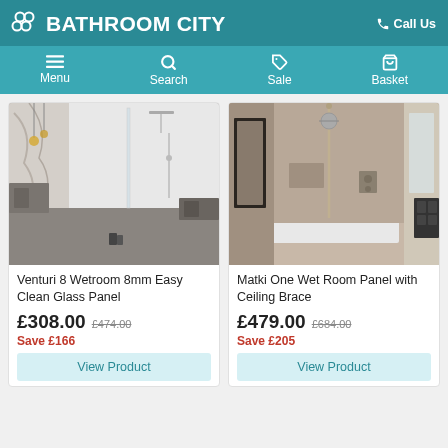BATHROOM CITY — Call Us
[Figure (screenshot): Navigation bar with Menu, Search, Sale, Basket icons]
[Figure (photo): Venturi 8 Wetroom 8mm Easy Clean Glass Panel product photo showing modern walk-in shower with glass panel and decorative wall]
Venturi 8 Wetroom 8mm Easy Clean Glass Panel
£308.00  £474.00  Save £166
View Product
[Figure (photo): Matki One Wet Room Panel with Ceiling Brace product photo showing taupe/brown wetroom with ceiling brace]
Matki One Wet Room Panel with Ceiling Brace
£479.00  £684.00  Save £205
View Product